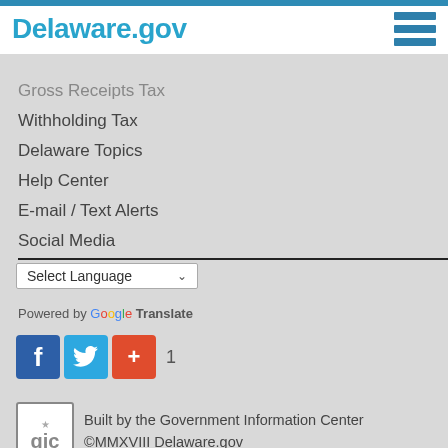Delaware.gov
Gross Receipts Tax
Withholding Tax
Delaware Topics
Help Center
E-mail / Text Alerts
Social Media
Responsible Disclosure
Select Language
Powered by Google Translate
[Figure (other): Social media share buttons: Facebook, Twitter, Google+, and a count of 1]
Built by the Government Information Center ©MMXVIII Delaware.gov